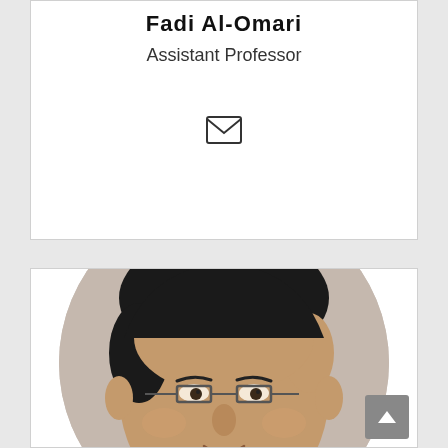Assistant Professor
[Figure (photo): Email envelope icon]
[Figure (photo): Circular profile photo of a middle-aged man with dark hair, wearing glasses and a dark jacket, against a light beige background]